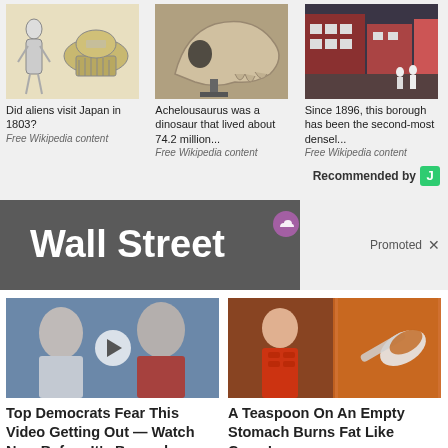[Figure (photo): Illustration of alien/UFO and Japanese figure from 1803]
Did aliens visit Japan in 1803?
Free Wikipedia content
[Figure (photo): Fossilized dinosaur skull on display]
Achelousaurus was a dinosaur that lived about 74.2 million...
Free Wikipedia content
[Figure (photo): Street scene of a dense borough since 1896]
Since 1896, this borough has been the second-most densel...
Free Wikipedia content
Recommended by J
[Figure (screenshot): Wall Street advertisement banner - promoted content]
[Figure (photo): Video thumbnail showing political figures - Trump ad]
Top Democrats Fear This Video Getting Out — Watch Now Before It's Banned
249,177
[Figure (photo): Spoon with spice powder and fitness person - health ad]
A Teaspoon On An Empty Stomach Burns Fat Like Crazy!
136,410